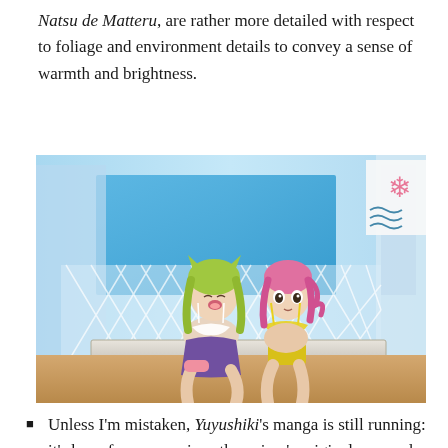Natsu de Matteru, are rather more detailed with respect to foliage and environment details to convey a sense of warmth and brightness.
[Figure (photo): Anime screenshot showing two girls in swimwear sitting on a bench outdoors, one with green hair and one with pink hair. Background shows a lattice fence, blue sky, and a sign with Japanese characters.]
Unless I'm mistaken, Yuyushiki's manga is still running: it's been four years since the anime's original run, and there's likely quite a bit of material that could be